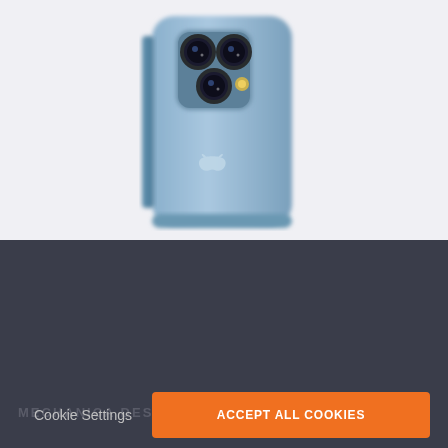[Figure (photo): Rear view of a blue iPhone 13 Pro showing triple camera system and Apple logo, on a light gray background]
We collect cookies to enable the proper functioning and security of our website, and to enhance your experience. By clicking on 'Accept All Cookies', you consent to the use of these cookies. You can change your 'Cookies Settings' at any time. For more information, please read our Cookie Policy
Cookie Settings
ACCEPT ALL COOKIES